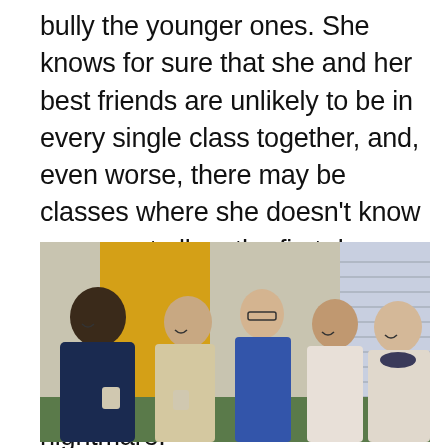bully the younger ones. She knows for sure that she and her best friends are unlikely to be in every single class together, and, even worse, there may be classes where she doesn't know anyone at all on the first day. And if your child with learning or attention problems struggles to make friends anyway, then this all adds up to a potential social nightmare.
[Figure (photo): Five teenagers (one boy and four girls) gathered around a table in a classroom setting, smiling and interacting. A yellow wall and window blinds are visible in the background.]